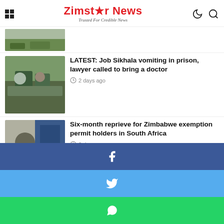Zimstar News — Trusted For Credible News
[Figure (photo): Thumbnail image of green outdoor scene, partially visible]
[Figure (photo): People in military/police uniforms standing near a vehicle]
LATEST: Job Sikhala vomiting in prison, lawyer called to bring a doctor
2 days ago
[Figure (photo): Man in suit with South African flag in background]
Six-month reprieve for Zimbabwe exemption permit holders in South Africa
3 days ago
[Figure (photo): Smiling man in blue shirt]
Zexie Manatsa's wife set for Friday burial